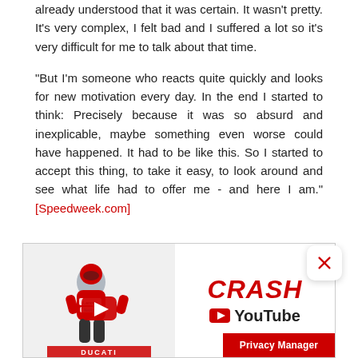already understood that it was certain. It wasn't pretty. It's very complex, I felt bad and I suffered a lot so it's very difficult for me to talk about that time.
"But I'm someone who reacts quite quickly and looks for new motivation every day. In the end I started to think: Precisely because it was so absurd and inexplicable, maybe something even worse could have happened. It had to be like this. So I started to accept this thing, to take it easy, to look around and see what life had to offer me - and here I am." [Speedweek.com]
[Figure (screenshot): CRASH YouTube channel advertisement banner with a MotoGP rider (in Ducati Lenovo livery) on the left, a YouTube play button overlay, and the CRASH logo with YouTube branding on the right. A red Privacy Manager button appears at the bottom right.]